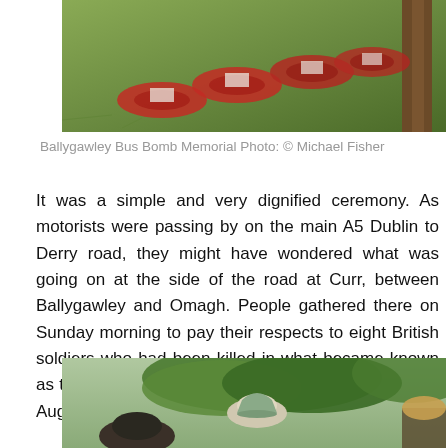[Figure (photo): Poppy wreaths laid on grass at the Ballygawley Bus Bomb Memorial]
Ballygawley Bus Bomb Memorial Photo: © Michael Fisher
It was a simple and very dignified ceremony. As motorists were passing by on the main A5 Dublin to Derry road, they might have wondered what was going on at the side of the road at Curr, between Ballygawley and Omagh. People gathered there on Sunday morning to pay their respects to eight British soldiers who had been killed in what became known as the Ballygawley bus bomb, 25 years ago today on August 20th 1988.
[Figure (photo): Soldiers or attendees at the Ballygawley Bus Bomb memorial ceremony, wearing military helmets, with trees in background]